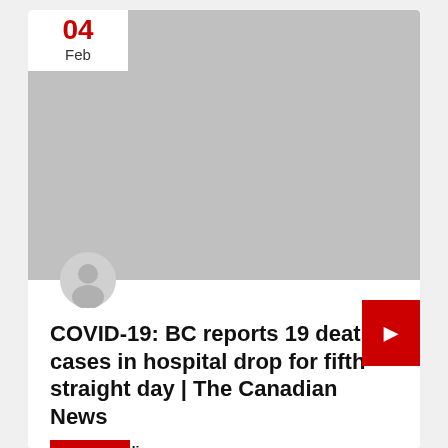[Figure (photo): Gray placeholder image area representing a news article thumbnail]
COVID-19: BC reports 19 deaths, cases in hospital drop for fifth straight day | The Canadian News
By Thecanadian